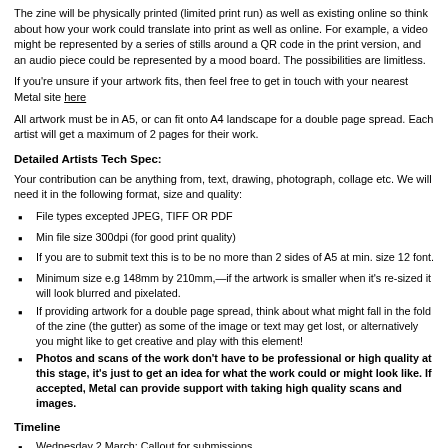The zine will be physically printed (limited print run) as well as existing online so think about how your work could translate into print as well as online. For example, a video might be represented by a series of stills around a QR code in the print version, and an audio piece could be represented by a mood board. The possibilities are limitless.
If you're unsure if your artwork fits, then feel free to get in touch with your nearest Metal site here
All artwork must be in A5, or can fit onto A4 landscape for a double page spread. Each artist will get a maximum of 2 pages for their work.
Detailed Artists Tech Spec:
Your contribution can be anything from, text, drawing, photograph, collage etc. We will need it in the following format, size and quality:
File types excepted JPEG, TIFF OR PDF
Min file size 300dpi (for good print quality)
If you are to submit text this is to be no more than 2 sides of A5 at min. size 12 font.
Minimum size e.g 148mm by 210mm,—if the artwork is smaller when it's re-sized it will look blurred and pixelated.
If providing artwork for a double page spread, think about what might fall in the fold of the zine (the gutter) as some of the image or text may get lost, or alternatively you might like to get creative and play with this element!
Photos and scans of the work don't have to be professional or high quality at this stage, it's just to get an idea for what the work could or might look like. If accepted, Metal can provide support with taking high quality scans and images.
Timeline
Wednesday 2 March: Callout for submissions